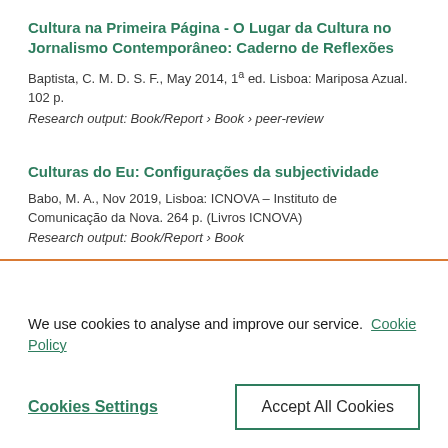Cultura na Primeira Página - O Lugar da Cultura no Jornalismo Contemporâneo: Caderno de Reflexões
Baptista, C. M. D. S. F., May 2014, 1ª ed. Lisboa: Mariposa Azual. 102 p.
Research output: Book/Report › Book › peer-review
Culturas do Eu: Configurações da subjectividade
Babo, M. A., Nov 2019, Lisboa: ICNOVA – Instituto de Comunicação da Nova. 264 p. (Livros ICNOVA)
Research output: Book/Report › Book
We use cookies to analyse and improve our service. Cookie Policy
Cookies Settings
Accept All Cookies